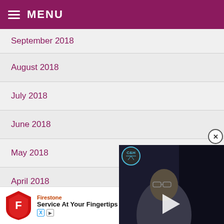MENU
September 2018
August 2018
July 2018
June 2018
May 2018
April 2018
March 2018
[Figure (screenshot): Video player overlay showing a person with C&H badge logo and text 'SCAMALCA SCORES' at the bottom with play button]
[Figure (screenshot): Advertisement banner for Firestone app showing shield logo, 'Service At Your Fingertips' text and Download button]